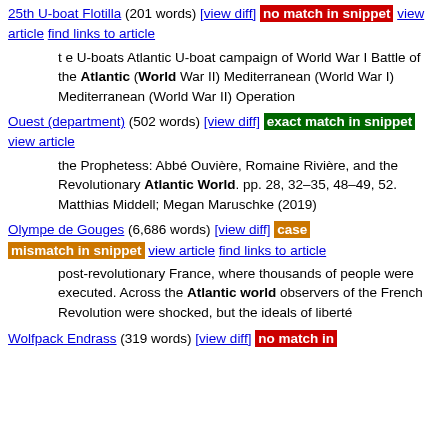25th U-boat Flotilla (201 words) [view diff] no match in snippet view article find links to article

t e U-boats Atlantic U-boat campaign of World War I Battle of the Atlantic (World War II) Mediterranean (World War I) Mediterranean (World War II) Operation
Ouest (department) (502 words) [view diff] exact match in snippet view article

the Prophetess: Abbé Ouvière, Romaine Rivière, and the Revolutionary Atlantic World. pp. 28, 32–35, 48–49, 52. Matthias Middell; Megan Maruschke (2019)
Olympe de Gouges (6,686 words) [view diff] case mismatch in snippet view article find links to article

post-revolutionary France, where thousands of people were executed. Across the Atlantic world observers of the French Revolution were shocked, but the ideals of liberté
Wolfpack Endrass (319 words) [view diff] no match in